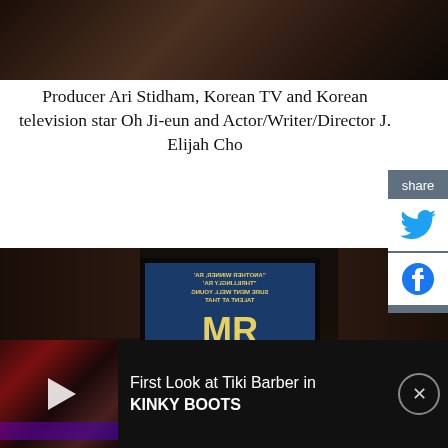[Figure (photo): Partial view of a darkly-lit photo showing people at what appears to be an event, cropped at top]
Producer Ari Stidham, Korean TV and Korean television star Oh Ji-eun and Actor/Writer/Director J. Elijah Cho
[Figure (photo): Photo showing backs of heads of two people in front of a mirrored/reversed 'MR YOUNG' show poster in a dark venue]
[Figure (screenshot): Advertisement bar at bottom: First Look at Tiki Barber in KINKY BOOTS, with a video thumbnail showing a stage performance with red lighting]